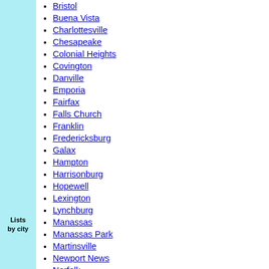Lists by city
Bristol
Buena Vista
Charlottesville
Chesapeake
Colonial Heights
Covington
Danville
Emporia
Fairfax
Falls Church
Franklin
Fredericksburg
Galax
Hampton
Harrisonburg
Hopewell
Lexington
Lynchburg
Manassas
Manassas Park
Martinsville
Newport News
Norfolk
Norton
Petersburg